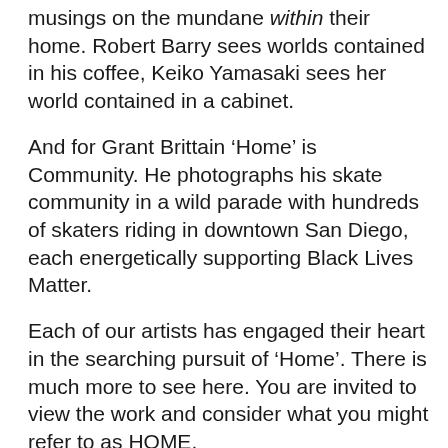musings on the mundane within their home. Robert Barry sees worlds contained in his coffee, Keiko Yamasaki sees her world contained in a cabinet.
And for Grant Brittain ‘Home’ is Community. He photographs his skate community in a wild parade with hundreds of skaters riding in downtown San Diego, each energetically supporting Black Lives Matter.
Each of our artists has engaged their heart in the searching pursuit of ‘Home’. There is much more to see here. You are invited to view the work and consider what you might refer to as HOME.
Donna Cosentino, Director